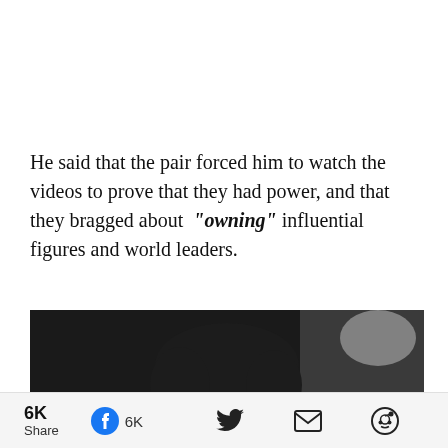He said that the pair forced him to watch the videos to prove that they had power, and that they bragged about “owning” influential figures and world leaders.
[Figure (photo): Grayscale photo of a dark-haired woman, partially obscured by a white overlay at the bottom, dark background.]
6K Share  6K [Facebook icon] [Twitter icon] [Email icon] [Reddit icon]